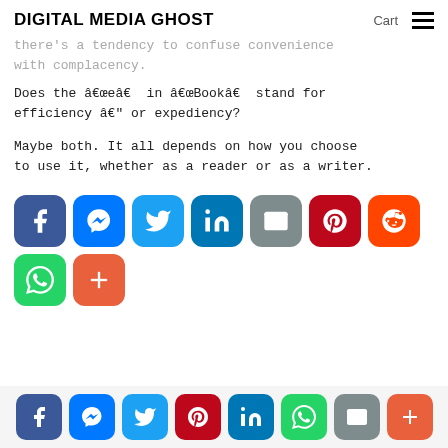DIGITAL MEDIA GHOST   Cart ≡
there's a tendency to confuse convenience with complacency.
Does the “e” in “Book” stand for efficiency — or expediency?
Maybe both. It all depends on how you choose to use it, whether as a reader or as a writer.
[Figure (infographic): Row of social share buttons: Facebook, Messenger, Twitter, LinkedIn, Email, Pinterest, Reddit, WhatsApp, and a plus/more button]
[Figure (infographic): Footer bar with social share buttons: Facebook, Messenger, Twitter, Pinterest, LinkedIn, WhatsApp, Email, More]